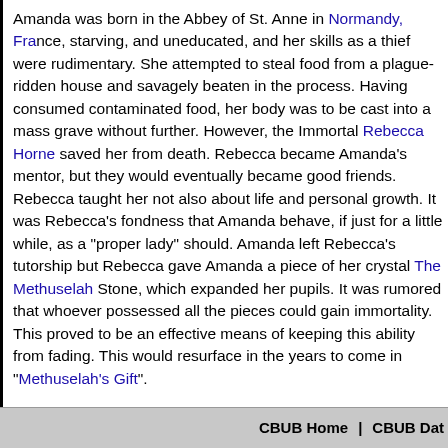Amanda was born in the Abbey of St. Anne in Normandy, Fra... starving, and uneducated, and her skills as a thief were rudim... food from a plague-ridden house and savagely beaten in the... consumed contaminated food, her body was to be cast into a... further. However, the Immortal Rebecca Horne saved her fro... Amanda's mentor, but they would eventually became good fr... also about life and personal growth. It was Rebecca's fondne... if just for a little while, as a "proper lady" should. Amanda left... Rebecca gave Amanda a piece of her crystal The Methuselah... pupils. It was rumored that whoever possessed all the pieces... proved to be an effective means of keeping this ability from f... in the years to come in "Methuselah's Gift".
During her travels later that same year after having left the A... Saxon who challenged her for her head. Fearing for her life,... wouldn't be able to fight her on Holy Ground. Rather than co... her demons, pointing out that she wouldn't be able to run for... Saxon, she won and received her first Quickening. It was foll... uncertain future.
CBUB Home | CBUB Dat...